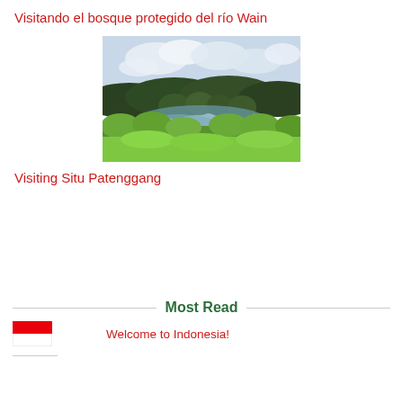Visitando el bosque protegido del río Wain
[Figure (photo): Landscape photo showing a lake or wetland surrounded by lush green tropical vegetation, trees in the background, and cloudy sky above]
Visiting Situ Patenggang
Most Read
[Figure (illustration): Flag of Indonesia - red and white horizontal bands]
Welcome to Indonesia!